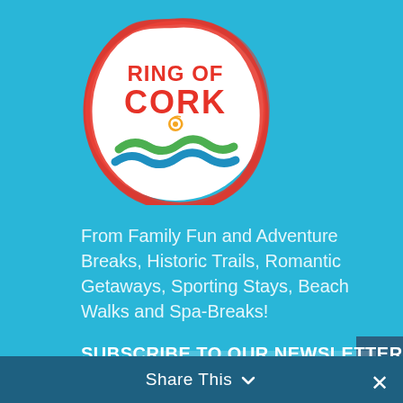[Figure (logo): Ring of Cork circular logo with red hand-drawn circle border, text 'RING OF CORK' in red and orange, green wave and blue wave design, on white background]
From Family Fun and Adventure Breaks, Historic Trails, Romantic Getaways, Sporting Stays, Beach Walks and Spa-Breaks!
SUBSCRIBE TO OUR NEWSLETTER
First Name
Share This